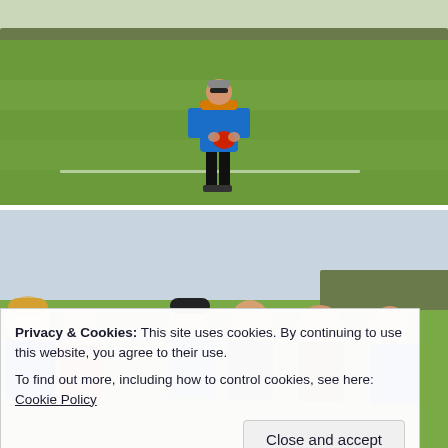[Figure (photo): A person wearing a blue and orange jacket and black pants stands on a green grass sports field holding a red ball. Trees are visible in the background along the horizon.]
[Figure (photo): A group of people standing together on a grass sports field, smiling and chatting. Sky is overcast. A cookie consent banner overlays the lower portion.]
Privacy & Cookies: This site uses cookies. By continuing to use this website, you agree to their use.
To find out more, including how to control cookies, see here: Cookie Policy
Close and accept